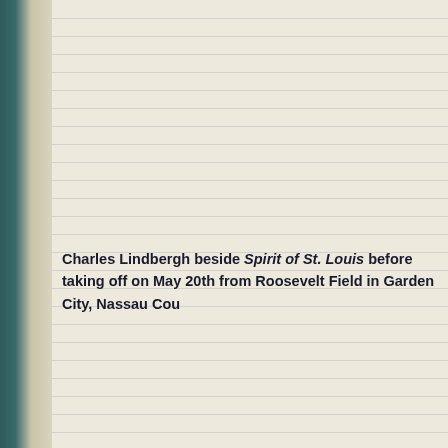Charles Lindbergh beside Spirit of St. Louis before taking off on May 20th from Roosevelt Field in Garden City, Nassau Cou...